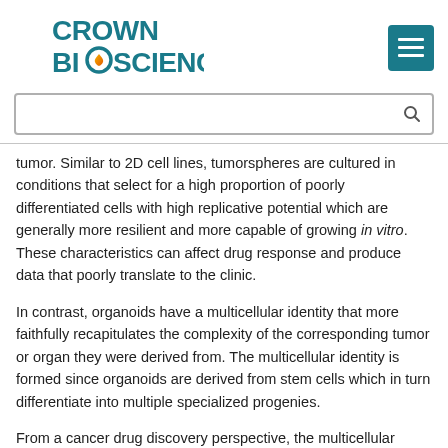[Figure (logo): Crown Bioscience logo with teal text and flame/gradient O graphic]
tumor. Similar to 2D cell lines, tumorspheres are cultured in conditions that select for a high proportion of poorly differentiated cells with high replicative potential which are generally more resilient and more capable of growing in vitro. These characteristics can affect drug response and produce data that poorly translate to the clinic.
In contrast, organoids have a multicellular identity that more faithfully recapitulates the complexity of the corresponding tumor or organ they were derived from. The multicellular identity is formed since organoids are derived from stem cells which in turn differentiate into multiple specialized progenies.
From a cancer drug discovery perspective, the multicellular identity of tumor organoids more closely resemble tumors in vivo, once again significantly improving the patient relevance